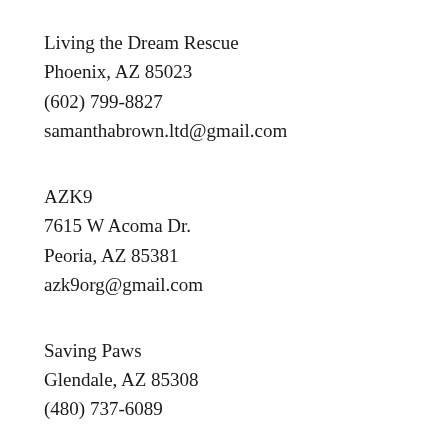Living the Dream Rescue
Phoenix, AZ 85023
(602) 799-8827
samanthabrown.ltd@gmail.com
AZK9
7615 W Acoma Dr.
Peoria, AZ 85381
azk9org@gmail.com
Saving Paws
Glendale, AZ 85308
(480) 737-6089